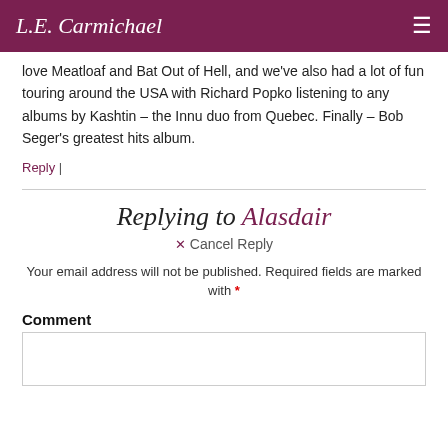L.E. Carmichael
love Meatloaf and Bat Out of Hell, and we've also had a lot of fun touring around the USA with Richard Popko listening to any albums by Kashtin – the Innu duo from Quebec. Finally – Bob Seger's greatest hits album.
Reply |
Replying to Alasdair
✕ Cancel Reply
Your email address will not be published. Required fields are marked with *
Comment